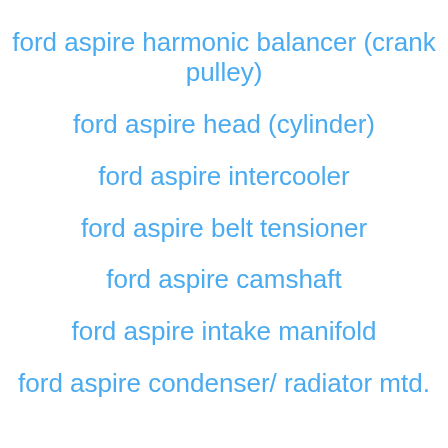ford aspire harmonic balancer (crank pulley)
ford aspire head (cylinder)
ford aspire intercooler
ford aspire belt tensioner
ford aspire camshaft
ford aspire intake manifold
ford aspire condenser/ radiator mtd.